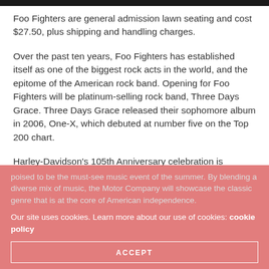Foo Fighters are general admission lawn seating and cost $27.50, plus shipping and handling charges.
Over the past ten years, Foo Fighters has established itself as one of the biggest rock acts in the world, and the epitome of the American rock band. Opening for Foo Fighters will be platinum-selling rock band, Three Days Grace. Three Days Grace released their sophomore album in 2006, One-X, which debuted at number five on the Top 200 chart.
Harley-Davidson's 105th Anniversary celebration is poised to be the must-see music event of the summer. By blending a diverse mix of music, the Motor Company will showcase the classic genre that is at the core of American independence.
Our site uses cookies. Learn more about our use of cookies: cookie policy